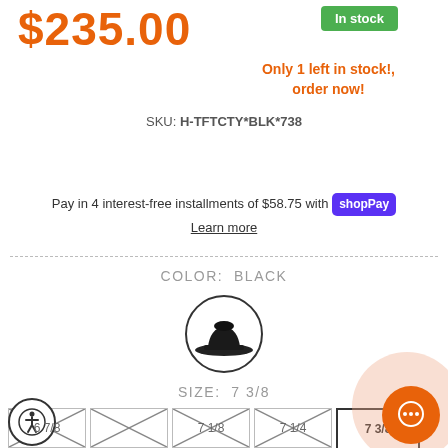$235.00
In stock
Only 1 left in stock!, order now!
SKU: H-TFTCTY*BLK*738
Pay in 4 interest-free installments of $58.75 with shop Pay
Learn more
COLOR: BLACK
[Figure (illustration): Black hat icon inside a circle]
SIZE: 7 3/8
6 7/8 | crossed out
crossed out
7 1/8 | crossed out
7 1/4 | crossed out
7 3/8 | selected
crossed out
7 5/8